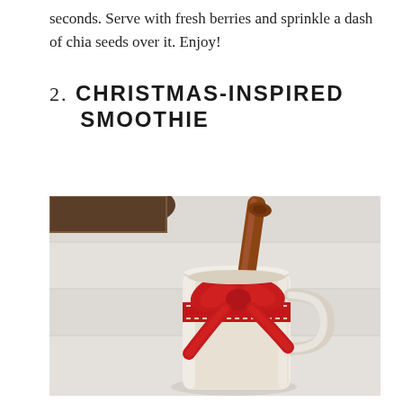seconds. Serve with fresh berries and sprinkle a dash of chia seeds over it. Enjoy!
2. CHRISTMAS-INSPIRED SMOOTHIE
[Figure (photo): A glass mason mug filled with a creamy beige smoothie, decorated with a red ribbon bow and a cinnamon stick, placed on a white wooden surface with a dark woven basket in the background.]